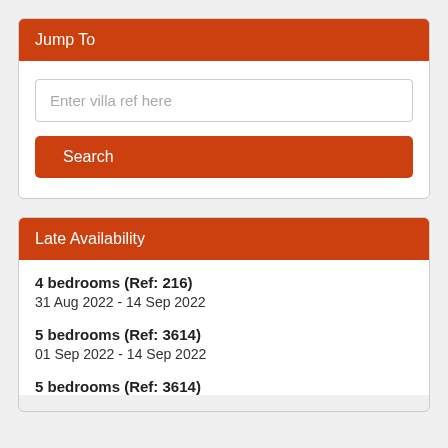Jump To
Enter villa ref here
Search
Late Availability
4 bedrooms (Ref: 216)
31 Aug 2022 - 14 Sep 2022
5 bedrooms (Ref: 3614)
01 Sep 2022 - 14 Sep 2022
5 bedrooms (Ref: 3614)